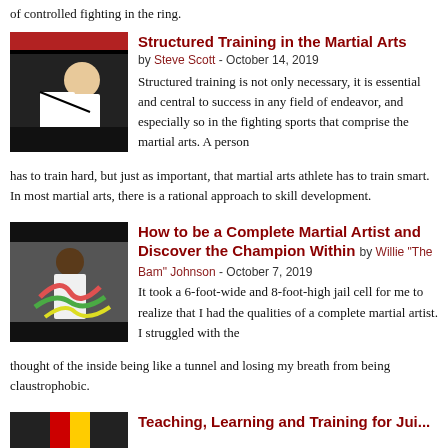of controlled fighting in the ring.
Structured Training in the Martial Arts
by Steve Scott - October 14, 2019
[Figure (photo): Two martial artists grappling on a mat, one wearing white gi]
Structured training is not only necessary, it is essential and central to success in any field of endeavor, and especially so in the fighting sports that comprise the martial arts. A person has to train hard, but just as important, that martial arts athlete has to train smart. In most martial arts, there is a rational approach to skill development.
How to be a Complete Martial Artist and Discover the Champion Within
by Willie "The Bam" Johnson - October 7, 2019
[Figure (photo): Martial artist performing with colorful flags or ribbons]
It took a 6-foot-wide and 8-foot-high jail cell for me to realize that I had the qualities of a complete martial artist. I struggled with the thought of the inside being like a tunnel and losing my breath from being claustrophobic.
Teaching, Learning and Training for Jui...